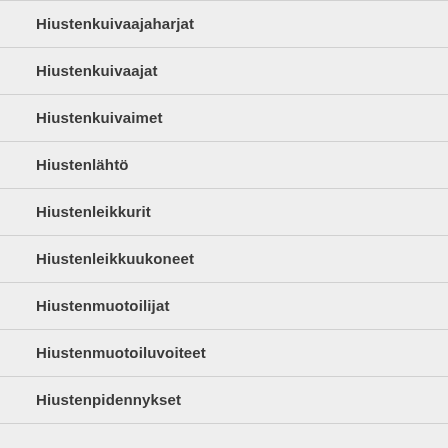Hiustenkuivaajaharjat
Hiustenkuivaajat
Hiustenkuivaimet
Hiustenlähtö
Hiustenleikkurit
Hiustenleikkuukoneet
Hiustenmuotoilijat
Hiustenmuotoiluvoiteet
Hiustenpidennykset